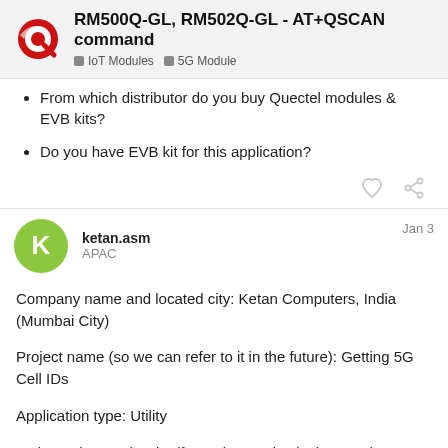RM500Q-GL, RM502Q-GL - AT+QSCAN command | IoT Modules | 5G Module
From which distributor do you buy Quectel modules & EVB kits?
Do you have EVB kit for this application?
ketan.asm APAC Jan 3
Company name and located city: Ketan Computers, India (Mumbai City)
Project name (so we can refer to it in the future): Getting 5G Cell IDs
Application type: Utility
Estimated Annual Units (for series production): Less than 500 since it is very use/domain-specific
Project timeline: If eval success, then ready to implement